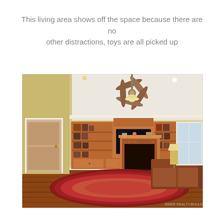This living area shows off the space because there are no other distractions, toys are all picked up
[Figure (photo): Interior photo of a living room with hardwood floors, a large built-in wooden entertainment center with TV, a brick fireplace, a red Persian rug, leather sofa, and a ceiling fan. Walls are painted yellow. Natural light comes through windows on the right.]